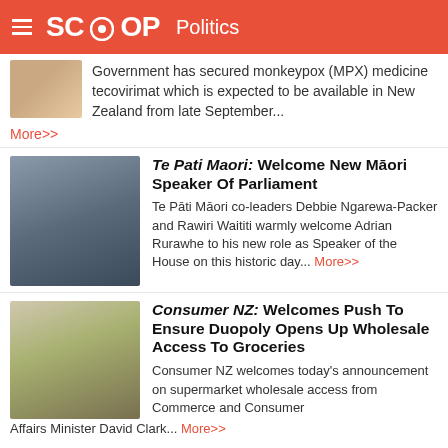SCOOP Politics
Government has secured monkeypox (MPX) medicine tecovirimat which is expected to be available in New Zealand from late September... More>>
Te Pati Maori: Welcome New Māori Speaker Of Parliament
Te Pāti Māori co-leaders Debbie Ngarewa-Packer and Rawiri Waititi warmly welcome Adrian Rurawhe to his new role as Speaker of the House on this historic day... More>>
Consumer NZ: Welcomes Push To Ensure Duopoly Opens Up Wholesale Access To Groceries
Consumer NZ welcomes today's announcement on supermarket wholesale access from Commerce and Consumer Affairs Minister David Clark... More>>